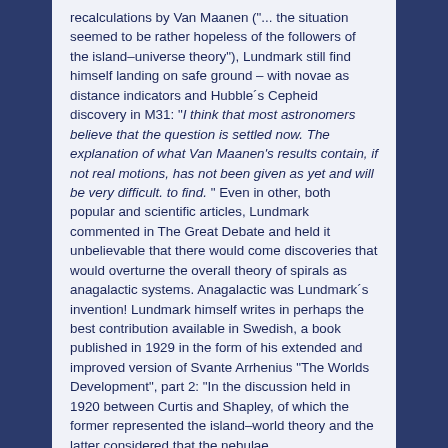recalculations by Van Maanen ("... the situation seemed to be rather hopeless of the followers of the island–universe theory"), Lundmark still find himself landing on safe ground – with novae as distance indicators and Hubble´s Cepheid discovery in M31: "I think that most astronomers believe that the question is settled now. The explanation of what Van Maanen's results contain, if not real motions, has not been given as yet and will be very difficult. to find. " Even in other, both popular and scientific articles, Lundmark commented in The Great Debate and held it unbelievable that there would come discoveries that would overturne the overall theory of spirals as anagalactic systems. Anagalactic was Lundmark´s invention! Lundmark himself writes in perhaps the best contribution available in Swedish, a book published in 1929 in the form of his extended and improved version of Svante Arrhenius "The Worlds Development", part 2: "In the discussion held in 1920 between Curtis and Shapley, of which the former represented the island–world theory and the latter considered that the nebulae